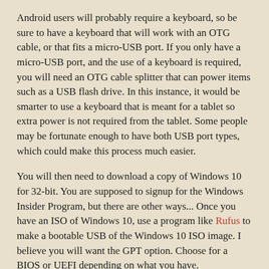Android users will probably require a keyboard, so be sure to have a keyboard that will work with an OTG cable, or that fits a micro-USB port. If you only have a micro-USB port, and the use of a keyboard is required, you will need an OTG cable splitter that can power items such as a USB flash drive. In this instance, it would be smarter to use a keyboard that is meant for a tablet so extra power is not required from the tablet. Some people may be fortunate enough to have both USB port types, which could make this process much easier.
You will then need to download a copy of Windows 10 for 32-bit. You are supposed to signup for the Windows Insider Program, but there are other ways... Once you have an ISO of Windows 10, use a program like Rufus to make a bootable USB of the Windows 10 ISO image. I believe you will want the GPT option. Choose for a BIOS or UEFI depending on what you have.
Restrictions
The main restriction is to not have a compressed OS. The